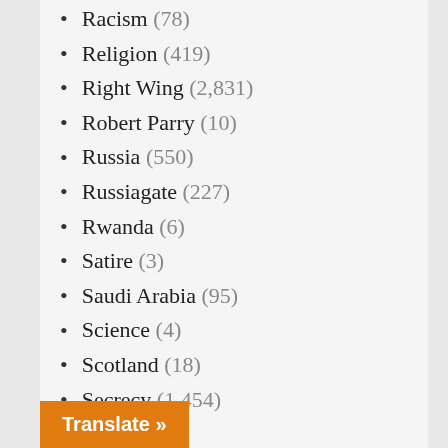Racism (78)
Religion (419)
Right Wing (2,831)
Robert Parry (10)
Russia (550)
Russiagate (227)
Rwanda (6)
Satire (3)
Saudi Arabia (95)
Science (4)
Scotland (18)
Secrecy (1,454)
Slovenia (1)
Social Media (23)
Somalia (8)
South Africa (20)
South Korea (11)
Soviet Union (40)